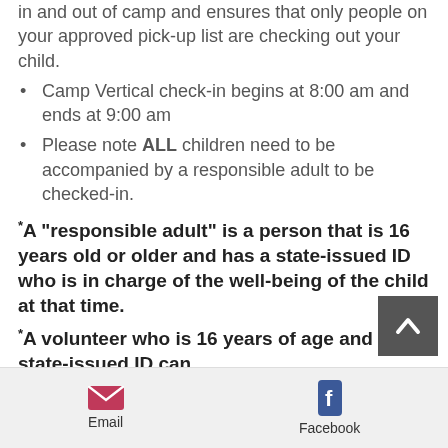in and out of camp and ensures that only people on your approved pick-up list are checking out your child.
Camp Vertical check-in begins at 8:00 am and ends at 9:00 am
Please note ALL children need to be accompanied by a responsible adult to be checked-in.
*A “responsible adult” is a person that is 16 years old or older and has a state-issued ID who is in charge of the well-being of the child at that time.
*A volunteer who is 16 years of age and has a state-issued ID can
Email   Facebook